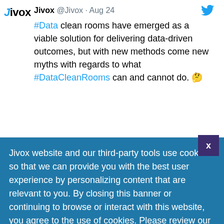[Figure (screenshot): Tweet from Jivox account (@Jivox, Aug 24) with Jivox logo on left and Twitter bird icon on right. Tweet text: '#Data clean rooms have emerged as a viable solution for delivering data-driven outcomes, but with new methods come new myths with regards to what #DataCleanRooms can and cannot do. 🤔']
Jivox website and our third-party tools use cookies so that we can provide you with the best user experience by personalizing content that are relevant to you. By closing this banner or continuing to browse or interact with this website, you agree to the use of cookies. Please review our Privacy Policy to learn more about how cookies are used. Click here to OPT-OUT